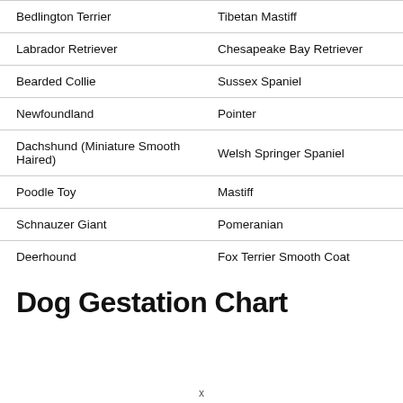| Bedlington Terrier | Tibetan Mastiff |
| Labrador Retriever | Chesapeake Bay Retriever |
| Bearded Collie | Sussex Spaniel |
| Newfoundland | Pointer |
| Dachshund (Miniature Smooth Haired) | Welsh Springer Spaniel |
| Poodle Toy | Mastiff |
| Schnauzer Giant | Pomeranian |
| Deerhound | Fox Terrier Smooth Coat |
Dog Gestation Chart